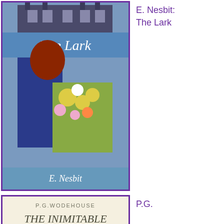[Figure (illustration): Book cover of 'The Lark' by E. Nesbit with purple border, showing a woman with flowers and a mansion in background]
E. Nesbit: The Lark
[Figure (illustration): Book cover of 'The Inimitable Jeeves' by P.G. Wodehouse with purple border, showing cartoon figures with a trumpet]
P.G. Wodehouse: The Inimitable Jeeves
[Figure (photo): Book cover showing a black and white portrait photo of a woman, partial text 'what there is to']
Suzanne Marrs, ed.: What There Is to...